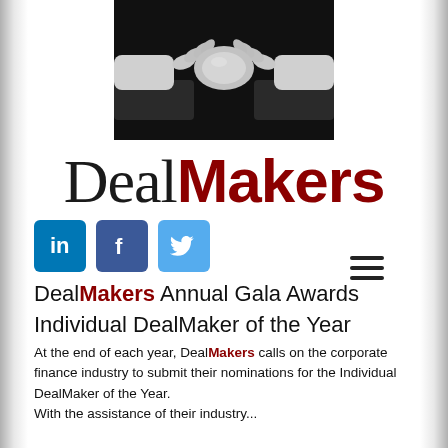[Figure (photo): Black and white photo of two hands shaking in a formal business handshake, wearing suit sleeves]
DealMakers
[Figure (other): Hamburger menu icon (three horizontal lines)]
[Figure (other): Social media icons: LinkedIn, Facebook, Twitter]
DealMakers Annual Gala Awards
Individual DealMaker of the Year
At the end of each year, DealMakers calls on the corporate finance industry to submit their nominations for the Individual DealMaker of the Year. With the assistance of their industry...